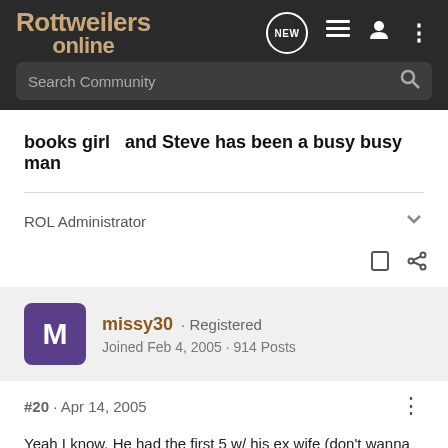Rottweilers online | Search Community
books girl  and Steve has been a busy busy man
ROL Administrator
missy30 · Registered
Joined Feb 4, 2005 · 914 Posts
#20 · Apr 14, 2005
Yeah I know. He had the first 5 w/ his ex wife (don't wanna go